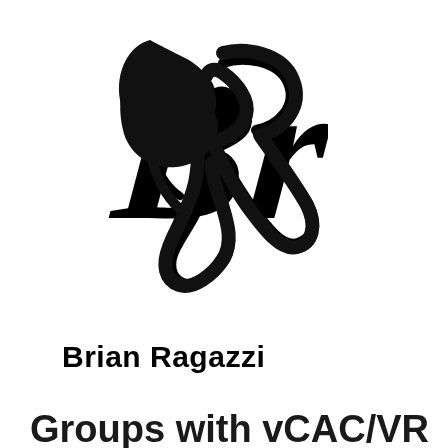[Figure (logo): Stylized cursive 'BR' logo mark in black brush script]
Brian Ragazzi
Privacy & Cookies: This site uses cookies. By continuing to use this website, you agree to their use.
To find out more, including how to control cookies, see here: Cookie Policy
Groups with vCAC/VRA –